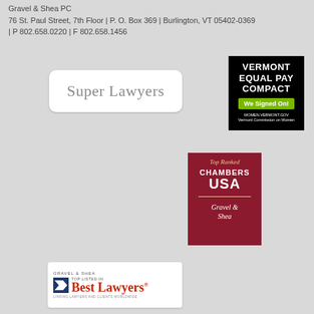Gravel & Shea PC
76 St. Paul Street, 7th Floor | P. O. Box 369 | Burlington, VT 05402-0369 | P 802.658.0220 | F 802.658.1456
[Figure (logo): Super Lawyers badge - white rounded rectangle with gray text]
[Figure (logo): Vermont Equal Pay Compact - We Signed On! badge from women.vermont.gov]
[Figure (logo): Top Ranked Chambers USA - Gravel & Shea badge in dark red]
[Figure (logo): Gravel & Shea Best Lawyers Top Listed In badge with blue triangle icon]